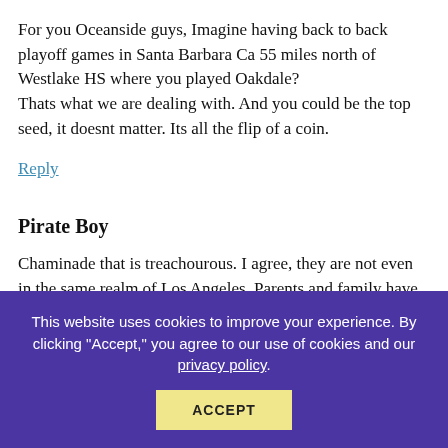For you Oceanside guys, Imagine having back to back playoff games in Santa Barbara Ca 55 miles north of Westlake HS where you played Oakdale? Thats what we are dealing with. And you could be the top seed, it doesnt matter. Its all the flip of a coin.
Reply
Pirate Boy
Chaminade that is treachourous. I agree, they are not even in the same realm of Los Angeles. Parents and family have to call Expedia just to go to a hs football game. Not good !
This website uses cookies to improve your experience. By clicking "Accept," you agree to our use of cookies and our privacy policy.